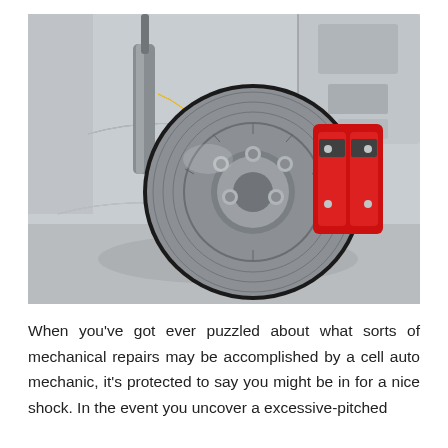[Figure (photo): Close-up photograph of a car's disc brake assembly showing a silver ventilated rotor, red brake caliper, suspension components including control arms, shock absorber with yellow detail, and chassis structure against a grey background.]
When you've got ever puzzled about what sorts of mechanical repairs may be accomplished by a cell auto mechanic, it's protected to say you might be in for a nice shock. In the event you uncover a excessive-pitched